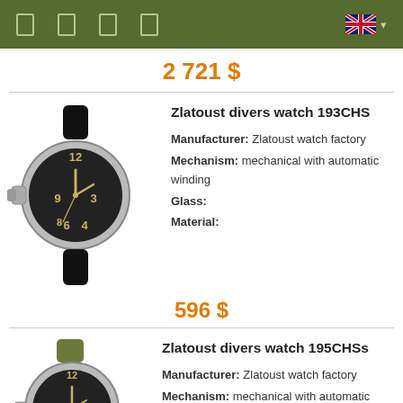Navigation bar with icons and UK flag
2 721 $
Zlatoust divers watch 193CHS
[Figure (photo): Zlatoust divers watch 193CHS with black dial and black leather strap, silver case with crown protector]
Manufacturer: Zlatoust watch factory
Mechanism: mechanical with automatic winding
Glass:
Material:
596 $
Zlatoust divers watch 195CHSs
[Figure (photo): Zlatoust divers watch 195CHSs with black dial and olive/green textile strap, silver case]
Manufacturer: Zlatoust watch factory
Mechanism: mechanical with automatic winding